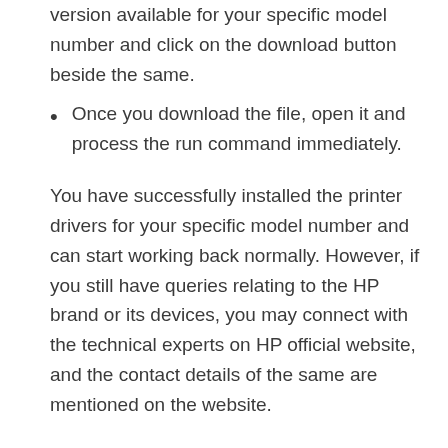version available for your specific model number and click on the download button beside the same.
Once you download the file, open it and process the run command immediately.
You have successfully installed the printer drivers for your specific model number and can start working back normally. However, if you still have queries relating to the HP brand or its devices, you may connect with the technical experts on HP official website, and the contact details of the same are mentioned on the website.